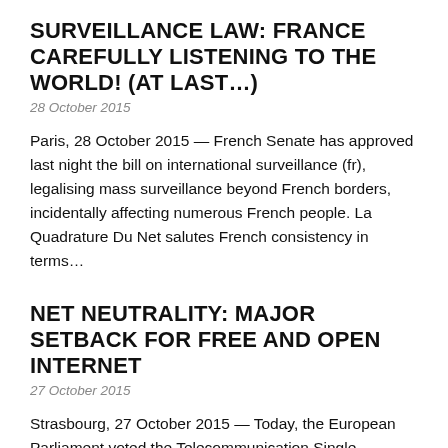SURVEILLANCE LAW: FRANCE CAREFULLY LISTENING TO THE WORLD! (AT LAST…)
28 October 2015
Paris, 28 October 2015 — French Senate has approved last night the bill on international surveillance (fr), legalising mass surveillance beyond French borders, incidentally affecting numerous French people. La Quadrature Du Net salutes French consistency in terms…
NET NEUTRALITY: MAJOR SETBACK FOR FREE AND OPEN INTERNET
27 October 2015
Strasbourg, 27 October 2015 — Today, the European Parliament voted the Telecommunication Single